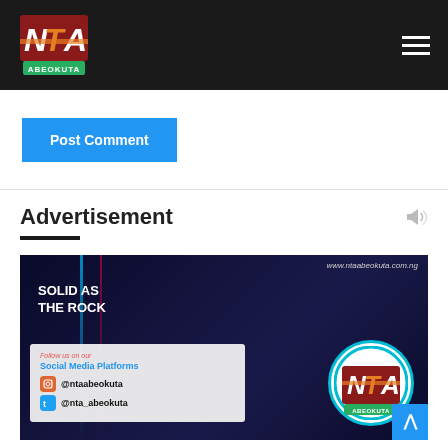NTA Abeokuta
[Figure (logo): NTA Abeokuta logo with green ABEOKUTA label]
Post Comment
Advertisement
[Figure (photo): NTA Abeokuta advertisement banner: 'Solid as the Rock', social media: @ntaabeokuta (Instagram), @nta_abeokuta (Twitter), website: www.ntaabeokuta.com.ng, NTA Abeokuta logo circle]